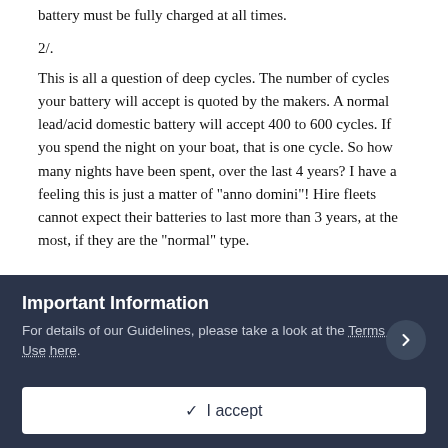battery must be fully charged at all times.
2/.
This is all a question of deep cycles. The number of cycles your battery will accept is quoted by the makers. A normal lead/acid domestic battery will accept 400 to 600 cycles. If you spend the night on your boat, that is one cycle. So how many nights have been spent, over the last 4 years? I have a feeling this is just a matter of "anno domini"! Hire fleets cannot expect their batteries to last more than 3 years, at the most, if they are the "normal" type.
There are batteries called Elecsol, which will accept around 1200 cycles. They are expensive, and must be kept topped up with
Important Information
For details of our Guidelines, please take a look at the Terms of Use here.
✓  I accept